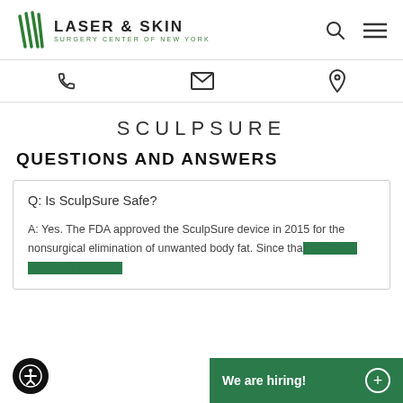[Figure (logo): Laser & Skin Surgery Center of New York logo with green striped icon]
LASER & SKIN SURGERY CENTER OF NEW YORK
SCULPSURE
QUESTIONS AND ANSWERS
Q: Is SculpSure Safe?
A: Yes. The FDA approved the SculpSure device in 2015 for the nonsurgical elimination of unwanted body fat. Since that treatment has been performe...